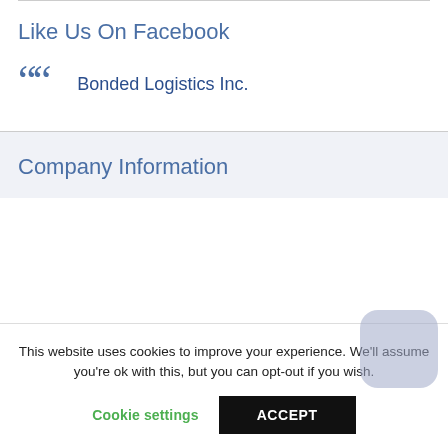Like Us On Facebook
““  Bonded Logistics Inc.
Company Information
This website uses cookies to improve your experience. We’ll assume you’re ok with this, but you can opt-out if you wish.
Cookie settings  ACCEPT